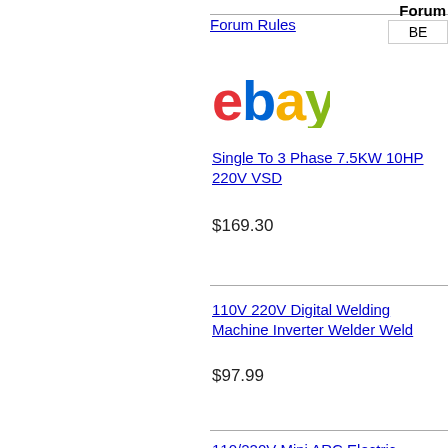Forum Rules
Forum
BE
[Figure (logo): eBay logo with colorful letters: red 'e', blue 'b', yellow 'a', green 'y']
Single To 3 Phase 7.5KW 10HP 220V VSD
$169.30
110V 220V Digital Welding Machine I Welder Weld
$97.99
110/220V Mini ARC Electric Welding I Welder IGBT